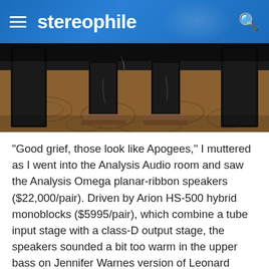stereophile
[Figure (photo): Photo of Analysis Audio Omega planar-ribbon speakers set up in a hotel room on wooden platforms, with large dark speaker panels visible, patterned carpet floor]
"Good grief, those look like Apogees," I muttered as I went into the Analysis Audio room and saw the Analysis Omega planar-ribbon speakers ($22,000/pair). Driven by Arion HS-500 hybrid monoblocks ($5995/pair), which combine a tube input stage with a class-D output stage, the speakers sounded a bit too warm in the upper bass on Jennifer Warnes version of Leonard Cohen's "Way Down Deep," but this could well have been a room effect. The soundstaging was to die for, in terms of